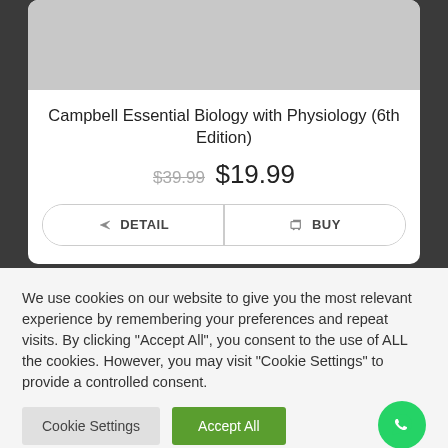[Figure (other): Gray placeholder image area for book cover]
Campbell Essential Biology with Physiology (6th Edition)
$39.99 $19.99
DETAIL   BUY
We use cookies on our website to give you the most relevant experience by remembering your preferences and repeat visits. By clicking “Accept All”, you consent to the use of ALL the cookies. However, you may visit "Cookie Settings" to provide a controlled consent.
Cookie Settings   Accept All